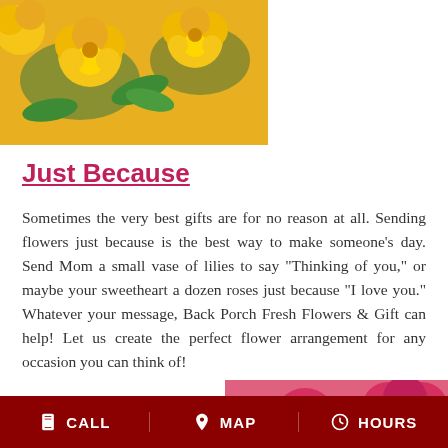[Figure (photo): Close-up photo of yellow roses with green leaves]
Just Because
Sometimes the very best gifts are for no reason at all. Sending flowers just because is the best way to make someone's day. Send Mom a small vase of lilies to say "Thinking of you," or maybe your sweetheart a dozen roses just because "I love you." Whatever your message, Back Porch Fresh Flowers & Gift can help! Let us create the perfect flower arrangement for any occasion you can think of!
[Figure (photo): Close-up photo of pink roses in an arrangement]
CALL   MAP   HOURS